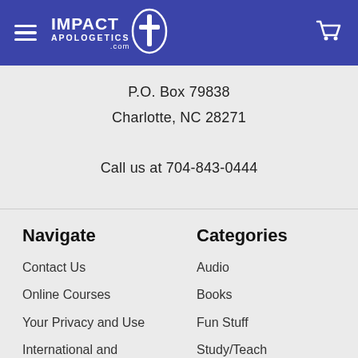Impact Apologetics .com
P.O. Box 79838
Charlotte, NC 28271

Call us at 704-843-0444
Navigate
Categories
Contact Us
Audio
Online Courses
Books
Your Privacy and Use
Fun Stuff
International and Domestic Shipping &
Study/Teach
Vide...